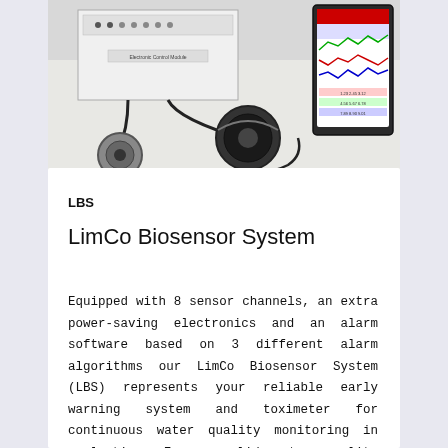[Figure (photo): Photo of LimCo Biosensor System hardware: electronic control unit with cables, circular sensor chambers, and a tablet/screen showing monitoring software interface with colored graphs.]
LBS
LimCo Biosensor System
Equipped with 8 sensor channels, an extra power-saving electronics and an alarm software based on 3 different alarm algorithms our LimCo Biosensor System (LBS) represents your reliable early warning system and toximeter for continuous water quality monitoring in real time. For a valid water quality assessment different types of test chambers and chamber arrays for new